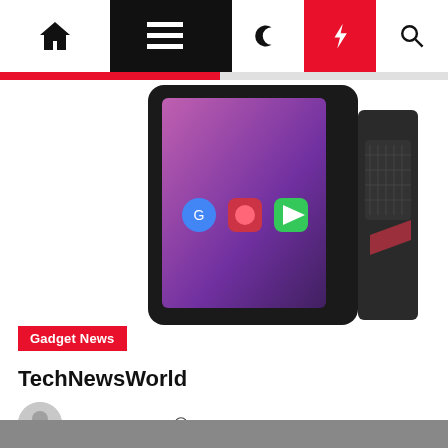[Figure (screenshot): Website navigation bar with home icon, hamburger menu, moon/dark-mode icon, red lightning bolt icon, and search icon on black background]
[Figure (photo): Smartphone showing Android home screen with app icons including Google, a gaming app, and Play Store, against a purple/pink gradient wallpaper, with a rugged black case on the right side]
Gadget News
TechNewsWorld
Trent Stonge  2 years ago
[Figure (photo): Partial gray image at the bottom of the page, content not visible]